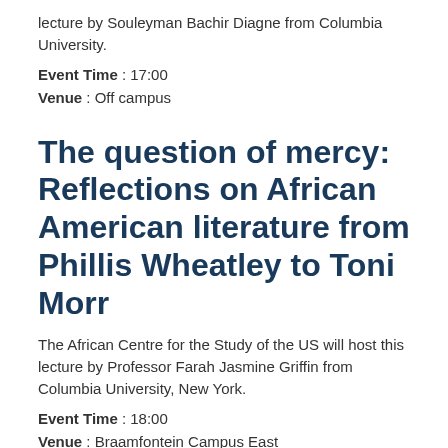lecture by Souleyman Bachir Diagne from Columbia University.
Event Time : 17:00
Venue : Off campus
The question of mercy: Reflections on African American literature from Phillis Wheatley to Toni Morr
The African Centre for the Study of the US will host this lecture by Professor Farah Jasmine Griffin from Columbia University, New York.
Event Time : 18:00
Venue : Braamfontein Campus East